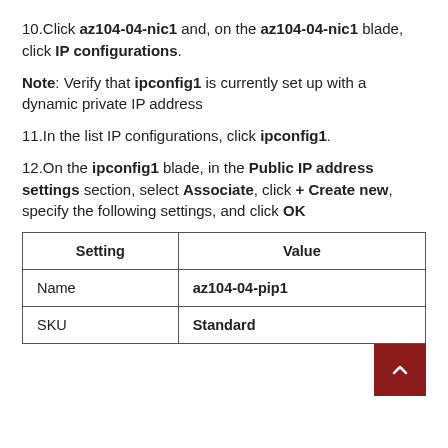10. Click az104-04-nic1 and, on the az104-04-nic1 blade, click IP configurations.
Note: Verify that ipconfig1 is currently set up with a dynamic private IP address
11. In the list IP configurations, click ipconfig1.
12. On the ipconfig1 blade, in the Public IP address settings section, select Associate, click + Create new, specify the following settings, and click OK
| Setting | Value |
| --- | --- |
| Name | az104-04-pip1 |
| SKU | Standard |